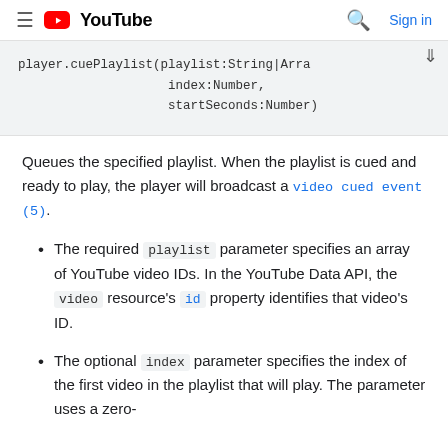YouTube  Sign in
player.cuePlaylist(playlist:String|Array, index:Number, startSeconds:Number)
Queues the specified playlist. When the playlist is cued and ready to play, the player will broadcast a video cued event (5).
The required playlist parameter specifies an array of YouTube video IDs. In the YouTube Data API, the video resource's id property identifies that video's ID.
The optional index parameter specifies the index of the first video in the playlist that will play. The parameter uses a zero-